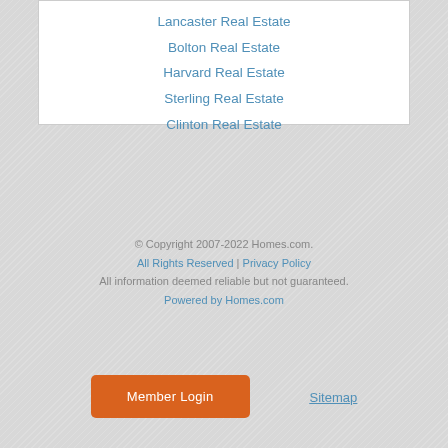Lancaster Real Estate
Bolton Real Estate
Harvard Real Estate
Sterling Real Estate
Clinton Real Estate
© Copyright 2007-2022 Homes.com. All Rights Reserved | Privacy Policy All information deemed reliable but not guaranteed. Powered by Homes.com
Member Login
Sitemap